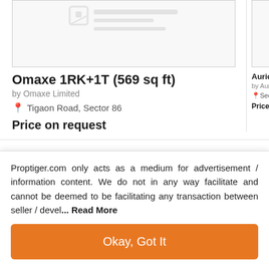[Figure (photo): Property listing image placeholder for Omaxe 1RK+1T — shows a faint watermark/logo graphic]
Omaxe 1RK+1T (569 sq ft)
by Omaxe Limited
Tigaon Road, Sector 86
Price on request
[Figure (photo): Partial property listing image for Auric 3BHK — right side clipped]
Auric 3BHK
by Auric Infra
Sector 82
Price on req
Discuss about Amolik Heights
Proptiger.com only acts as a medium for advertisement / information content. We do not in any way facilitate and cannot be deemed to be facilitating any transaction between seller / devel... Read More
Okay, Got It